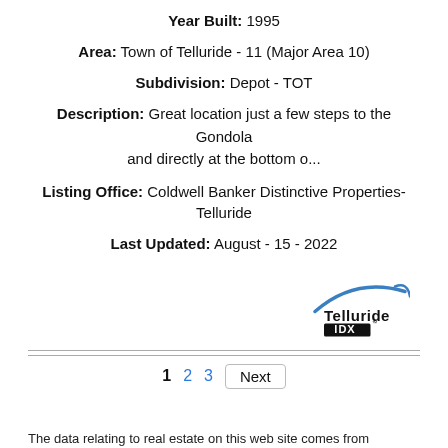Year Built: 1995
Area: Town of Telluride - 11 (Major Area 10)
Subdivision: Depot - TOT
Description: Great location just a few steps to the Gondola and directly at the bottom o...
Listing Office: Coldwell Banker Distinctive Properties-Telluride
Last Updated: August - 15 - 2022
[Figure (logo): Telluride IDX logo with blue swoosh arc above bold text]
1  2  3  Next
The data relating to real estate on this web site comes from